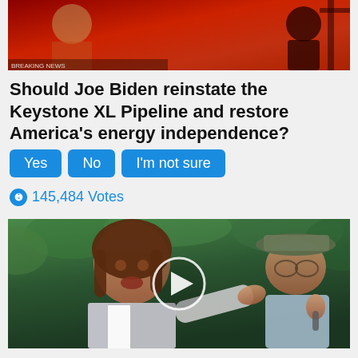[Figure (photo): Top image showing a person in a red background with a silhouette figure]
Should Joe Biden reinstate the Keystone XL Pipeline and restore America's energy independence?
Yes | No | I'm not sure
145,484 Votes
[Figure (photo): Video thumbnail showing two people outdoors with green foliage background, with a play button overlay]
Everyone Who Believes In God Should Watch This, It Will Blow Your Mind